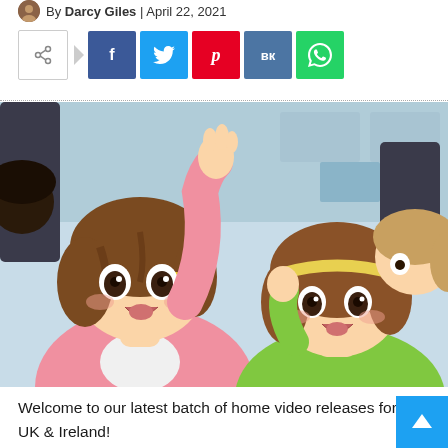By Darcy Giles | April 22, 2021
[Figure (infographic): Social share bar with share icon button, Facebook (f), Twitter (bird), Pinterest (p), VK (VK), WhatsApp (phone) buttons]
[Figure (illustration): Anime scene showing two cheerful anime girls with brown hair, one in pink jacket raising her hand, one in green jacket, seated in what appears to be a bus or classroom setting]
Welcome to our latest batch of home video releases for the UK & Ireland!